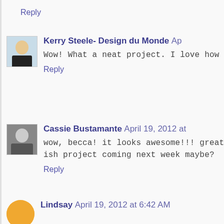Reply
Kerry Steele- Design du Monde Ap…
Wow! What a neat project. I love how…
Reply
Cassie Bustamante April 19, 2012 at…
wow, becca! it looks awesome!!! great ish project coming next week maybe?
Reply
Lindsay April 19, 2012 at 6:42 AM